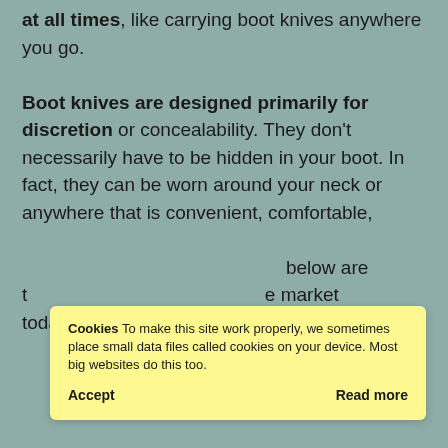at all times, like carrying boot knives anywhere you go.

Boot knives are designed primarily for discretion or concealability. They don't necessarily have to be hidden in your boot. In fact, they can be worn around your neck or anywhere that is convenient, comfortable, and accessible for you.

The boot knives listed below are the top boot knives on the market today.
Cookies To make this site work properly, we sometimes place small data files called cookies on your device. Most big websites do this too.

Accept   Read more